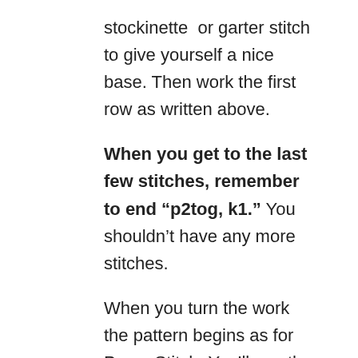stockinette  or garter stitch to give yourself a nice base. Then work the first row as written above.
When you get to the last few stitches, remember to end “p2tog, k1.” You shouldn’t have any more stitches.
When you turn the work the pattern begins as for Purse Stitch. You’ll see the stitches on the left needle are, from right to left: a purled final stitch (technically half of the garter pair), a right-slanting knit decrease stitch, and then the yarn over strand. After working half of the garter stitch pair, you begin with “yo, p2tog,” knit 1 to finish the repeat, and